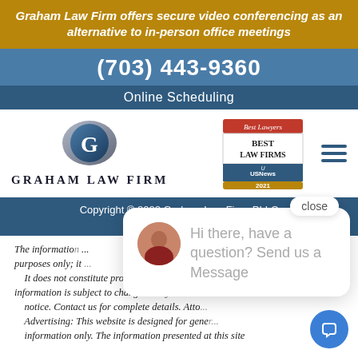Graham Law Firm offers secure video conferencing as an alternative to in-person office meetings
(703) 443-9360
Online Scheduling
[Figure (logo): Graham Law Firm logo with stylized G and firm name, plus Best Lawyers Best Law Firms US News 2021 badge, and hamburger menu icon]
Copyright © 2022 Graham Law Firm, PLLC
Internet Mark...
The information... purposes only; it... It does not constitute professional advice. All information is subject to change at any time with... notice. Contact us for complete details. Atto... Advertising: This website is designed for gene... information only. The information presented at this site
[Figure (screenshot): Chat popup with avatar photo saying Hi there, have a question? Send us a Message, with close button and chat bubble icon]